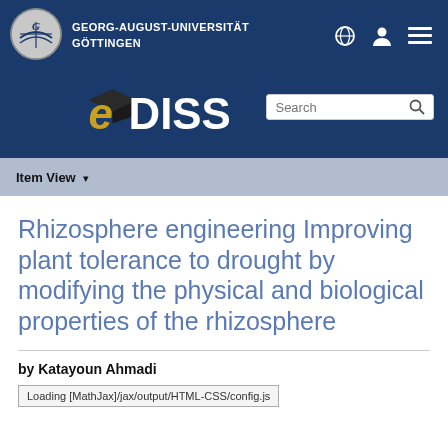[Figure (logo): Georg-August-Universität Göttingen logo with circular emblem and university name in white text on navy background, with globe, person, and hamburger menu icons]
[Figure (logo): eDiss logo in large stylized text with graduation cap icon, alongside a Search input box on navy background]
Item View ▾
Rhizosphere engineering Improving plant tolerance to drought by modifying the physical and biological properties of the rhizosphere
by Katayoun Ahmadi
Loading [MathJax]/jax/output/HTML-CSS/config.js